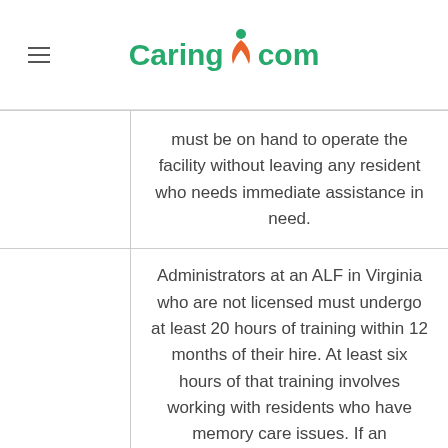Caring.com
|  | must be on hand to operate the facility without leaving any resident who needs immediate assistance in need. |
| Staff Training Requirements | Administrators at an ALF in Virginia who are not licensed must undergo at least 20 hours of training within 12 months of their hire. At least six hours of that training involves working with residents who have memory care issues. If an administrator has not received this training previously, they need to... |